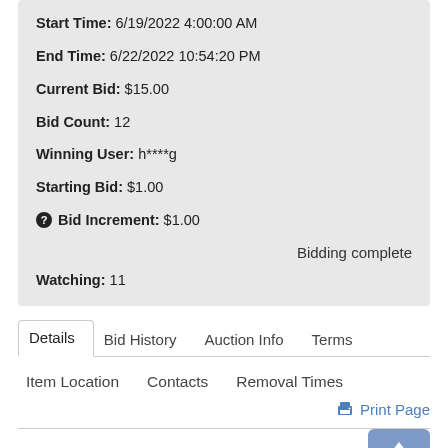Start Time: 6/19/2022 4:00:00 AM
End Time: 6/22/2022 10:54:20 PM
Current Bid: $15.00
Bid Count: 12
Winning User: h****g
Starting Bid: $1.00
Bid Increment: $1.00
Bidding complete
Watching: 11
Details  Bid History  Auction Info  Terms
Item Location  Contacts  Removal Times
Print Page